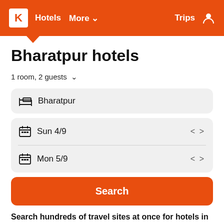K Hotels More ∨ Trips
Bharatpur hotels
1 room, 2 guests ∨
Bharatpur
Sun 4/9
Mon 5/9
Search
Search hundreds of travel sites at once for hotels in